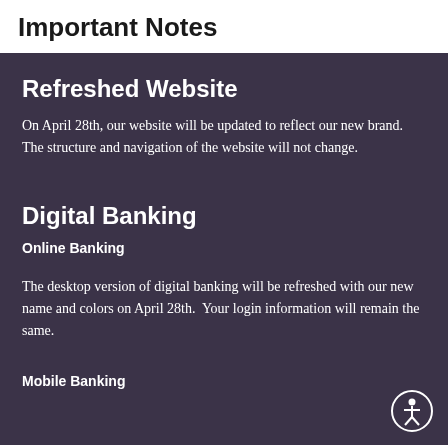Important Notes
Refreshed Website
On April 28th, our website will be updated to reflect our new brand. The structure and navigation of the website will not change.
Digital Banking
Online Banking
The desktop version of digital banking will be refreshed with our new name and colors on April 28th.  Your login information will remain the same.
Mobile Banking